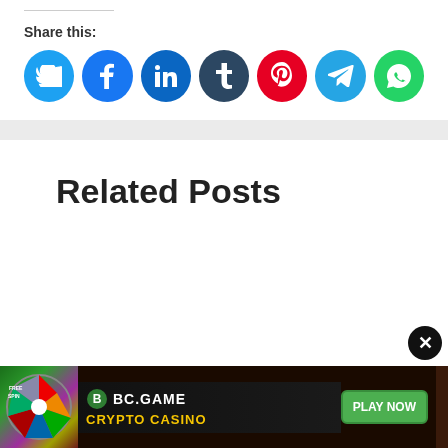Share this:
[Figure (infographic): Row of social media share buttons: Twitter (blue), Facebook (blue), LinkedIn (dark blue), Tumblr (dark navy), Pinterest (red), Telegram (light blue), WhatsApp (green)]
Related Posts
[Figure (screenshot): BC.GAME advertisement banner: FREE SPIN wheel on left, BC.GAME CRYPTO CASINO text in center with green PLAY NOW button on right]